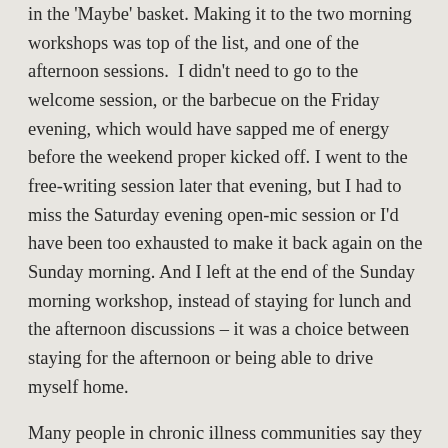in the 'Maybe' basket. Making it to the two morning workshops was top of the list, and one of the afternoon sessions.  I didn't need to go to the welcome session, or the barbecue on the Friday evening, which would have sapped me of energy before the weekend proper kicked off. I went to the free-writing session later that evening, but I had to miss the Saturday evening open-mic session or I'd have been too exhausted to make it back again on the Sunday morning. And I left at the end of the Sunday morning workshop, instead of staying for lunch and the afternoon discussions – it was a choice between staying for the afternoon or being able to drive myself home.
Many people in chronic illness communities say they can't go to family events or fly to a conference,